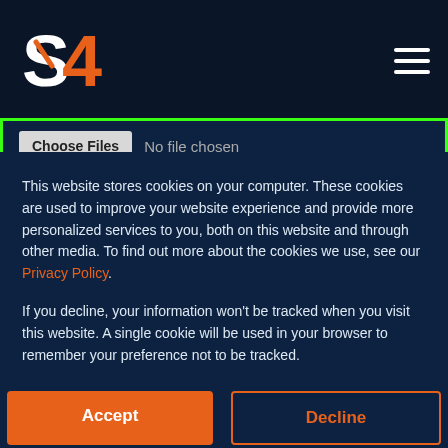S4 logo and navigation header
[Figure (screenshot): File upload area with Choose Files button and no file chosen text, and a textarea placeholder saying Anything else? (Cover letter, video link, message...)]
This website stores cookies on your computer. These cookies are used to improve your website experience and provide more personalized services to you, both on this website and through other media. To find out more about the cookies we use, see our Privacy Policy.
If you decline, your information won’t be tracked when you visit this website. A single cookie will be used in your browser to remember your preference not to be tracked.
Accept
Decline